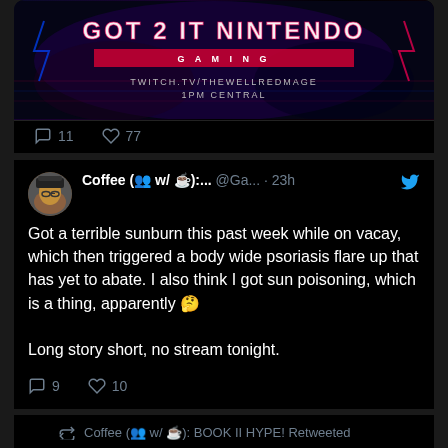[Figure (screenshot): Tweet with a dark gaming/streaming banner image showing text 'GOT 2 IT NINTENDO' with Twitch TV URL and '1PM CENTRAL']
11  77
Coffee (👥 w/ ☕):... @Ga... · 23h
Got a terrible sunburn this past week while on vacay, which then triggered a body wide psoriasis flare up that has yet to abate. I also think I got sun poisoning, which is a thing, apparently 🤔

Long story short, no stream tonight.
9  10
Coffee (👥 w/ ☕): BOOK II HYPE! Retweeted
SegaMasterTim... @seg... · Aug 27
Training has begun...